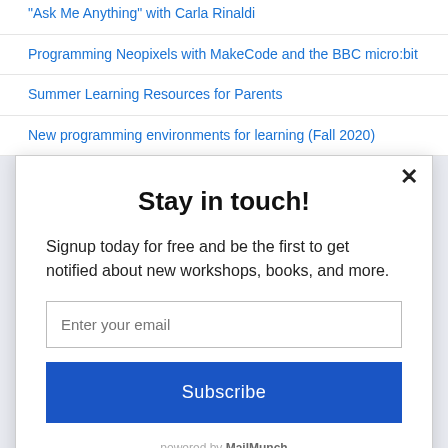"Ask Me Anything" with Carla Rinaldi
Programming Neopixels with MakeCode and the BBC micro:bit
Summer Learning Resources for Parents
New programming environments for learning (Fall 2020)
Stay in touch!
Signup today for free and be the first to get notified about new workshops, books, and more.
Enter your email
Subscribe
powered by MailMunch